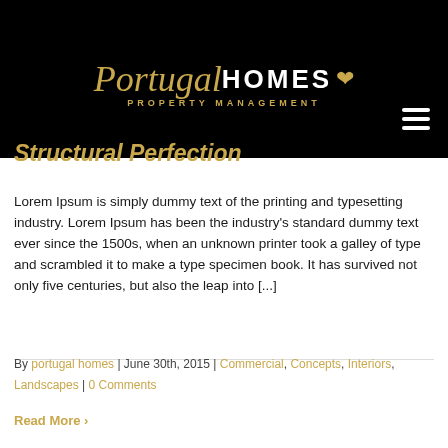[Figure (logo): Portugal Homes Property Management logo — stylized script 'Portugal' in gold italic font beside bold white 'HOMES' text, with 'PROPERTY MANAGEMENT' subtitle in gold below, and a decorative gold heart/floral emblem to the right, all on a black background.]
Structural Perfection
Lorem Ipsum is simply dummy text of the printing and typesetting industry. Lorem Ipsum has been the industry's standard dummy text ever since the 1500s, when an unknown printer took a galley of type and scrambled it to make a type specimen book. It has survived not only five centuries, but also the leap into [...]
By portugal homes | June 30th, 2015 | Commercial, Concepts, Interiors, Landscapes | 0 Comments
Read More >